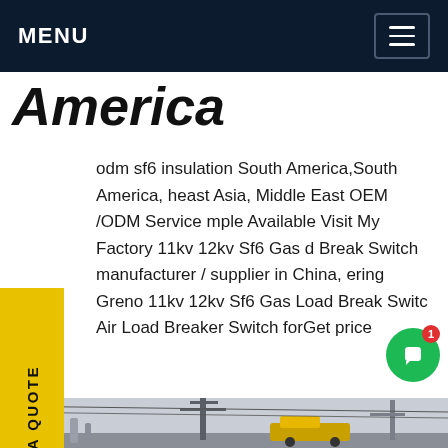MENU
America
odm sf6 insulation South America,South America, Southeast Asia, Middle East OEM /ODM Service Sample Available Visit My Factory 11kv 12kv Sf6 Gas Load Break Switch manufacturer / supplier in China, offering Greno 11kv 12kv Sf6 Gas Load Break Switch Air Load Breaker Switch forGet price
[Figure (photo): Outdoor electrical substation with transmission towers, high-voltage equipment, and a yellow vehicle/truck in the foreground. Chinese characters visible on a sign.]